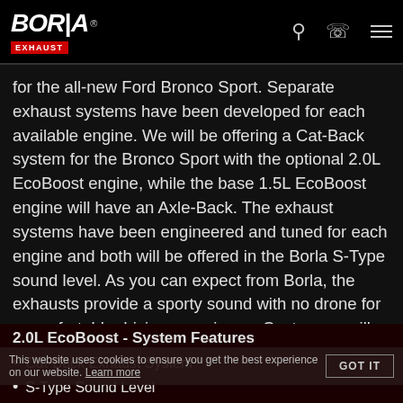Borla Exhaust
for the all-new Ford Bronco Sport. Separate exhaust systems have been developed for each available engine. We will be offering a Cat-Back system for the Bronco Sport with the optional 2.0L EcoBoost engine, while the base 1.5L EcoBoost engine will have an Axle-Back. The exhaust systems have been engineered and tuned for each engine and both will be offered in the Borla S-Type sound level. As you can expect from Borla, the exhausts provide a sporty sound with no drone for a comfortable driving experience. Customers will have an option between our two tip finishes of polished and ceramic black exhaust tips. Give your Ford Bronco Sport a boost in performance and sound, bolt-on a Borla.
2.0L EcoBoost - System Features
Cat-Back Exhaust System
S-Type Sound Level